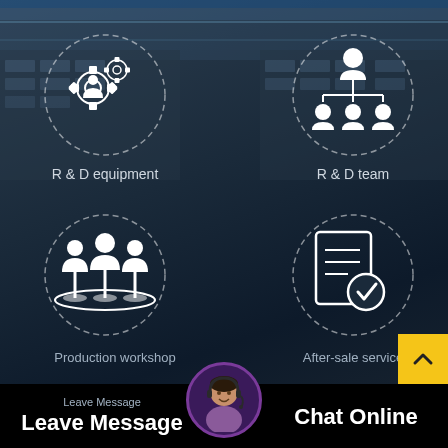[Figure (infographic): Dark industrial/factory background image with blue roof and warehouse buildings, overlaid with four circular icons representing: R&D equipment (gears), R&D team (org chart), Production workshop (team of workers), After-sale service (document with checkmark). Bottom bar has 'Leave Message' and 'Chat Online' with customer service avatar. Yellow back-to-top arrow button.]
R & D equipment
R & D team
Production workshop
After-sale service
Leave Message
Chat Online